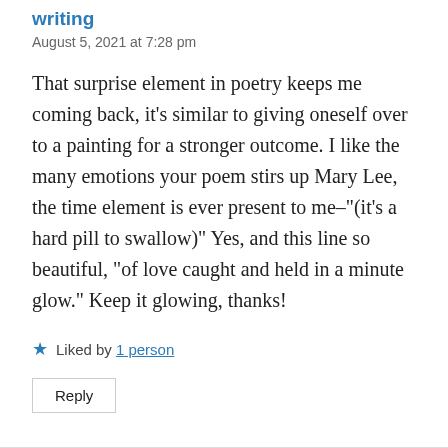writing
August 5, 2021 at 7:28 pm
That surprise element in poetry keeps me coming back, it's similar to giving oneself over to a painting for a stronger outcome. I like the many emotions your poem stirs up Mary Lee, the time element is ever present to me–"(it's a hard pill to swallow)" Yes, and this line so beautiful, "of love caught and held in a minute glow." Keep it glowing, thanks!
Liked by 1 person
Reply